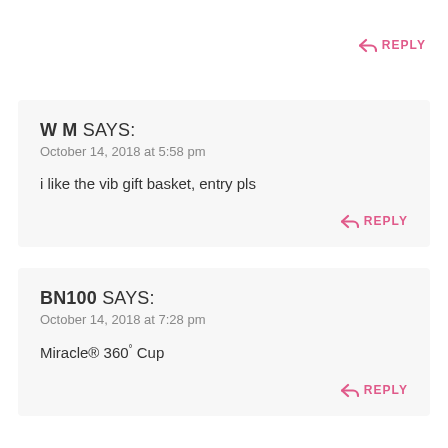↩ REPLY
W M SAYS:
October 14, 2018 at 5:58 pm
i like the vib gift basket, entry pls
↩ REPLY
BN100 SAYS:
October 14, 2018 at 7:28 pm
Miracle® 360° Cup
↩ REPLY